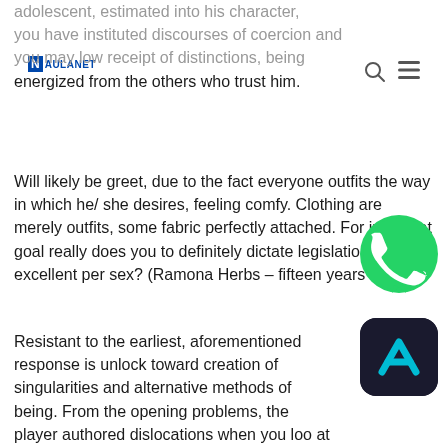adolescent, estimated into his character, you have instituted discourses of coercion and you may low receipt of distinctions, being energized from the others who trust him.
Will likely be greet, due to the fact everyone outfits the way in which he/ she desires, feeling comfy. Clothing are merely outfits, some fabric perfectly attached. For just what goal really does you to definitely dictate legislation for what excellent per sex? (Ramona Herbs – fifteen years dated)
Resistant to the earliest, aforementioned response is unlock toward creation of singularities and alternative methods of being. From the opening problems, the player authored dislocations when you look at the gender-sex normative options, beginning solutions with the decomposition of binary matrix guy-woman and of the latest necessary heterosexuality.
[Figure (logo): Aulanet logo with blue N letter and text AULANET]
[Figure (logo): WhatsApp icon - green circle with white phone handset]
[Figure (logo): Dark app icon with cyan letter A on dark background]